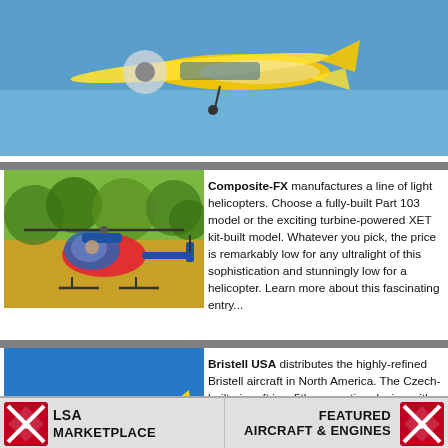[Figure (photo): Yellow and blue small aircraft flying against blue sky, top portion of the image cropped]
[Figure (photo): Blue and red helicopter on ground with trees in background]
Composite-FX manufactures a line of light helicopters. Choose a fully-built Part 103 model or the exciting turbine-powered XET kit-built model. Whatever you pick, the price is remarkably low for any ultralight of this sophistication and stunningly low for a helicopter. Learn more about this fascinating entry...
[Figure (photo): Yellow and blue low-wing aircraft flying against blue sky]
Bristell USA distributes the highly-refined Bristell aircraft in North America. The Czech-built aircraft is a 5th generation design with excellent performance, wonderful handling, and a most appealing shape. Other airplanes may look similar but Bristell has gone far beyond.
LSA MARKETPLACE   FEATURED AIRCRAFT & ENGINES